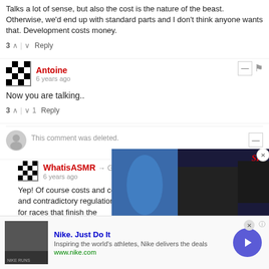Talks a lot of sense, but also the cost is the nature of the beast. Otherwise, we'd end up with standard parts and I don't think anyone wants that. Development costs money.
3 ^ | v Reply
Antoine
6 years ago
Now you are talking..
3 ^ | v 1 Reply
This comment was deleted.
WhatisASMR → Guest
6 years ago
Yep! Of course costs and comp... F1's meddling - good intentions... and contradictory regulations, m... that virtually guarantee high costs for races that finish the
[Figure (screenshot): Video overlay showing F1 driver with trophy, SI badge, caption about eight-time grand prix winner being only McLaren driver to win an F1 race in the last decade, now a free agent]
[Figure (infographic): Nike advertisement bar: Nike. Just Do It - Inspiring the world's athletes, Nike delivers the deals - www.nike.com - with dark image placeholder and blue circular play/arrow button]